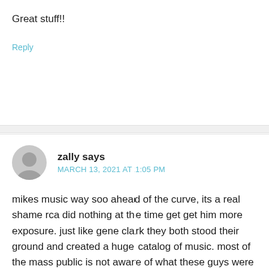Great stuff!!
Reply
zally says
MARCH 13, 2021 AT 1:05 PM
mikes music way soo ahead of the curve, its a real shame rca did nothing at the time get get him more exposure. just like gene clark they both stood their ground and created a huge catalog of music. most of the mass public is not aware of what these guys were creating. the real sound of country rock started with them and rick